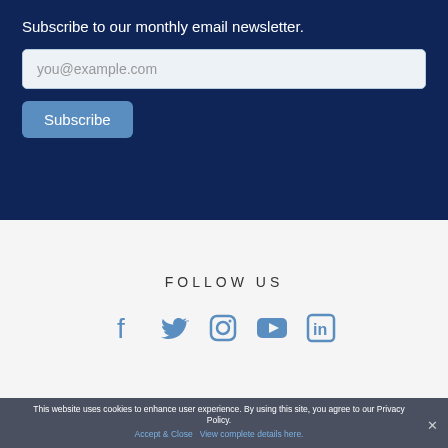Subscribe to our monthly email newsletter.
you@example.com
Subscribe
FOLLOW US
[Figure (infographic): Social media icons: Facebook, Twitter, Instagram, YouTube, LinkedIn in blue]
This website uses cookies to enhance user experience. By using this site, you agree to our Privacy Policy.
Accept & Close  View complete details here.